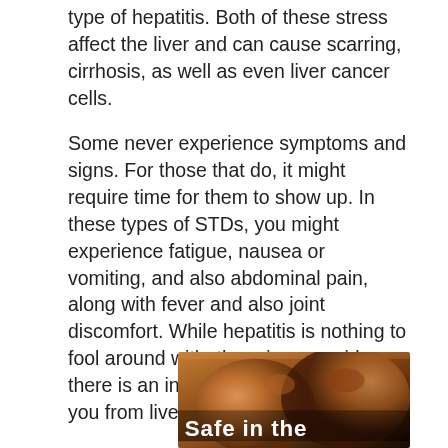type of hepatitis. Both of these stress affect the liver and can cause scarring, cirrhosis, as well as even liver cancer cells.
Some never experience symptoms and signs. For those that do, it might require time for them to show up. In these types of STDs, you might experience fatigue, nausea or vomiting, and also abdominal pain, along with fever and also joint discomfort. While hepatitis is nothing to fool around with, there is an upside as there is an injection that can safeguard you from liver disease.
[Figure (photo): Close-up photo of two people about to kiss, with warm orange/brown tones. Text overlay at the bottom beginning with 'Safe in the...' in white bold letters.]